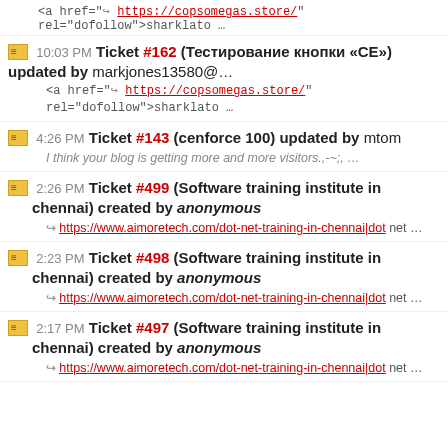<a href="↪ https://copsomegas.store/" rel="dofollow">sharklato …
10:03 PM Ticket #162 (Тестирование кнопки «CE») updated by markjones13580@… <a href="↪ https://copsomegas.store/" rel="dofollow">sharklato …
4:26 PM Ticket #143 (cenforce 100) updated by mtom — I think your blog is getting more and more visitors.,-~;, …
2:26 PM Ticket #499 (Software training institute in chennai) created by anonymous — ↪ https://www.aimoretech.com/dot-net-training-in-chennai|dot net …
2:23 PM Ticket #498 (Software training institute in chennai) created by anonymous — ↪ https://www.aimoretech.com/dot-net-training-in-chennai|dot net …
2:17 PM Ticket #497 (Software training institute in chennai) created by anonymous — ↪ https://www.aimoretech.com/dot-net-training-in-chennai|dot net …